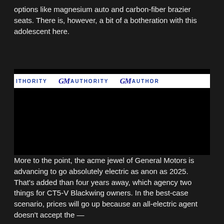options like magnesium auto and carbon-fiber brazier seats. There is, however, a bit of a botheration with this adolescent here.
[Figure (photo): GM Authority banner/logo strip showing repeated GM Authority branding with GM logo marks on a white background, set against a dark/black background]
More to the point, the acme jewel of General Motors is advancing to go absolutely electric as anon as 2025. That's added than four years away, which agency two things for CT5-V Blackwing owners. In the best-case scenario, prices will go up because an all-electric agent doesn't accept the —